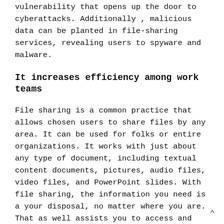vulnerability that opens up the door to cyberattacks. Additionally , malicious data can be planted in file-sharing services, revealing users to spyware and malware.
It increases efficiency among work teams
File sharing is a common practice that allows chosen users to share files by any area. It can be used for folks or entire organizations. It works with just about any type of document, including textual content documents, pictures, audio files, video files, and PowerPoint slides. With file sharing, the information you need is a your disposal, no matter where you are. That as well assists you to access and manage the team’s data files from virtually any location, reducing time-consuming manual transfers.
The ease of file-sharing technology makes it easy for